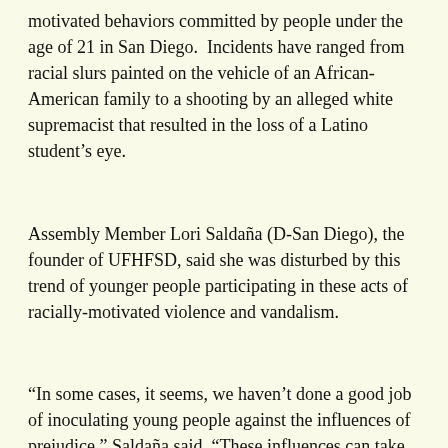motivated behaviors committed by people under the age of 21 in San Diego.  Incidents have ranged from racial slurs painted on the vehicle of an African-American family to a shooting by an alleged white supremacist that resulted in the loss of a Latino student’s eye.
Assembly Member Lori Saldaña (D-San Diego), the founder of UFHFSD, said she was disturbed by this trend of younger people participating in these acts of racially-motivated violence and vandalism.
“In some cases, it seems, we haven’t done a good job of inoculating young people against the influences of prejudice,” Saldaña said. “These influences can take the form of the latent bigotry heard on talk radio and television, the casual racism and homophobia heard in conversations with family and friends or the